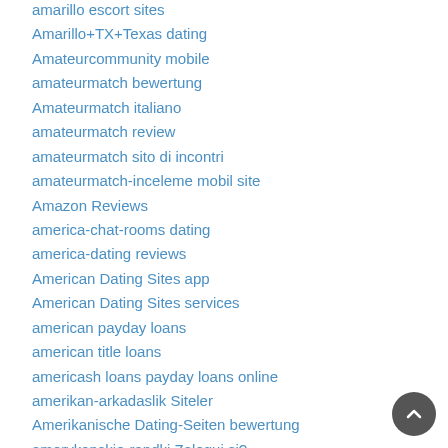amarillo escort sites
Amarillo+TX+Texas dating
Amateurcommunity mobile
amateurmatch bewertung
Amateurmatch italiano
amateurmatch review
amateurmatch sito di incontri
amateurmatch-inceleme mobil site
Amazon Reviews
america-chat-rooms dating
america-dating reviews
American Dating Sites app
American Dating Sites services
american payday loans
american title loans
americash loans payday loans online
amerikan-arkadaslik Siteler
Amerikanische Dating-Seiten bewertung
amerykanskie-randki Zaloguj si?
amino avis
Amino comment fonctionne
amino login
Amino review